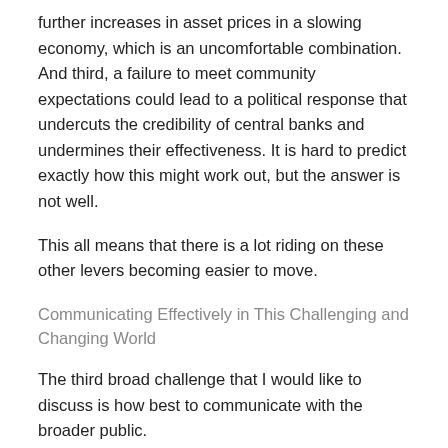further increases in asset prices in a slowing economy, which is an uncomfortable combination. And third, a failure to meet community expectations could lead to a political response that undercuts the credibility of central banks and undermines their effectiveness. It is hard to predict exactly how this might work out, but the answer is not well.
This all means that there is a lot riding on these other levers becoming easier to move.
Communicating Effectively in This Challenging and Changing World
The third broad challenge that I would like to discuss is how best to communicate with the broader public.
I agree very much with Athanasios Orphanides about